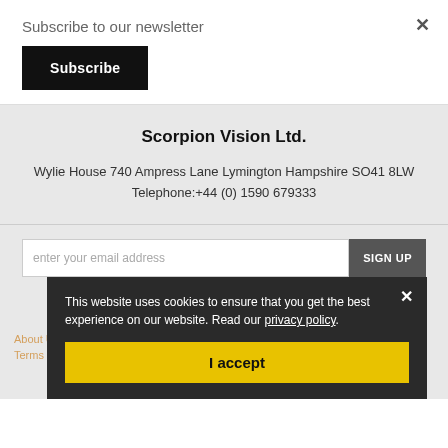Subscribe to our newsletter
Subscribe
Scorpion Vision Ltd.
Wylie House 740 Ampress Lane Lymington Hampshire SO41 8LW
Telephone:+44 (0) 1590 679333
enter your email address
SIGN UP
About Us   Match...   ...estions
Terms & Conditions   ...ch Login   Contact Us
This website uses cookies to ensure that you get the best experience on our website. Read our privacy policy.
I accept